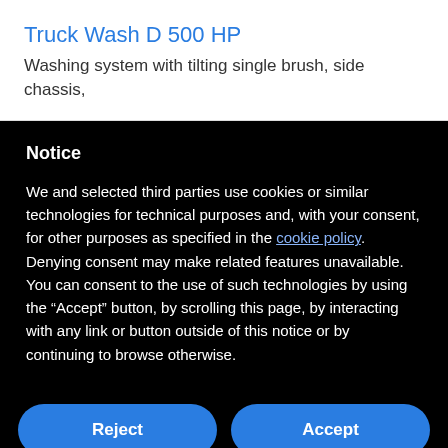Truck Wash D 500 HP
Washing system with tilting single brush, side chassis,
Notice
We and selected third parties use cookies or similar technologies for technical purposes and, with your consent, for other purposes as specified in the cookie policy. Denying consent may make related features unavailable.
You can consent to the use of such technologies by using the “Accept” button, by scrolling this page, by interacting with any link or button outside of this notice or by continuing to browse otherwise.
Reject
Accept
Learn more and customize